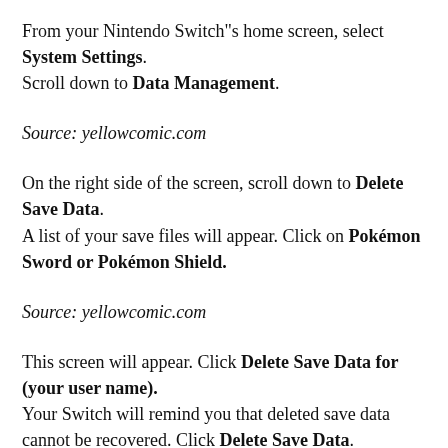From your Nintendo Switch"s home screen, select System Settings.
Scroll down to Data Management.
Source: yellowcomic.com
On the right side of the screen, scroll down to Delete Save Data.
A list of your save files will appear. Click on Pokémon Sword or Pokémon Shield.
Source: yellowcomic.com
This screen will appear. Click Delete Save Data for (your user name).
Your Switch will remind you that deleted save data cannot be recovered. Click Delete Save Data.
Source: yellowcomic.com
Your save data will be deleted. When the process is